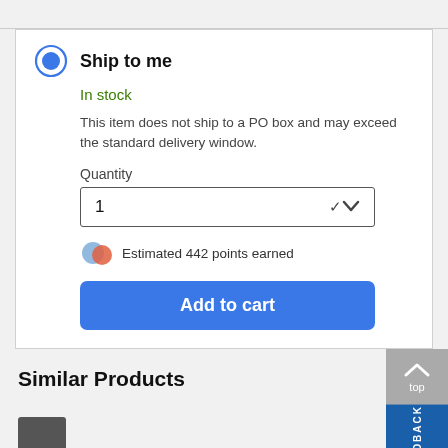Ship to me
In stock
This item does not ship to a PO box and may exceed the standard delivery window.
Quantity
1
Estimated 442 points earned
Add to cart
Similar Products
top
FEEDBACK